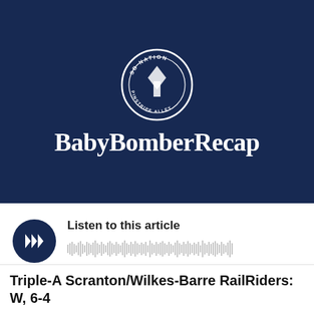[Figure (logo): BabyBomberRecap logo with SB Nation circular emblem above text on dark navy background]
Listen to this article
[Figure (other): Audio waveform playback bar with play button]
Triple-A Scranton/Wilkes-Barre RailRiders: W, 6-4